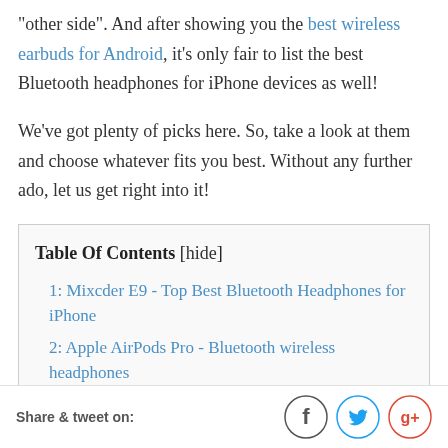"other side". And after showing you the best wireless earbuds for Android, it's only fair to list the best Bluetooth headphones for iPhone devices as well!
We've got plenty of picks here. So, take a look at them and choose whatever fits you best. Without any further ado, let us get right into it!
| Table Of Contents [hide] |
| 1: Mixcder E9 - Top Best Bluetooth Headphones for iPhone |
| 2: Apple AirPods Pro - Bluetooth wireless headphones |
| 3: Samsung Galaxy Buds+ - Crossword Bluetooth... |
Share & tweet on: